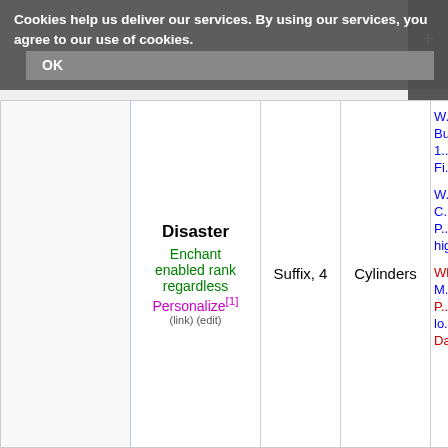Cookies help us deliver our services. By using our services, you agree to our use of cookies. OK
|  | Disaster / Enchant enabled rank regardless / Personalize[1] (link)(edit) | Suffix, 4 | Cylinders | ... |
| --- | --- | --- | --- | --- |
|  | Disaster
Enchant enabled rank regardless
Personalize[1]
(link) (edit) | Suffix, 4 | Cylinders | W...
Bu...
1...
Fi...
W...
C...
P...
hig...
Wh...
M...
P...
lo...
Da... |